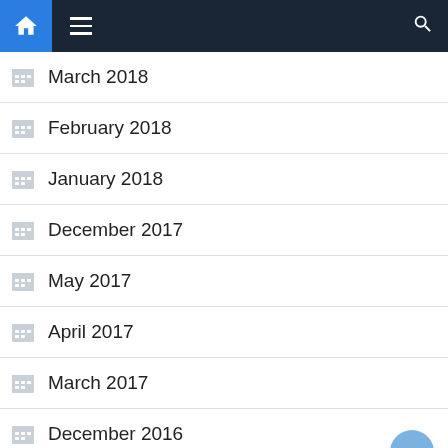Navigation bar with home, menu, and search icons
March 2018
February 2018
January 2018
December 2017
May 2017
April 2017
March 2017
December 2016
November 2016
September 2016